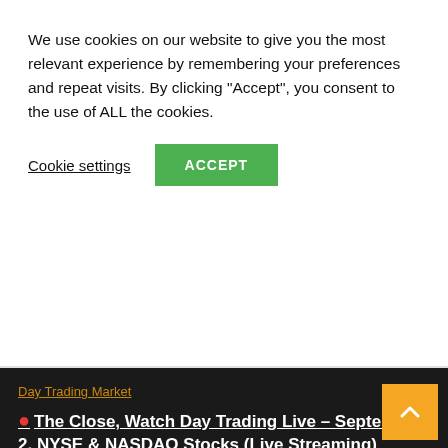We use cookies on our website to give you the most relevant experience by remembering your preferences and repeat visits. By clicking "Accept", you consent to the use of ALL the cookies.
Cookie settings | ACCEPT
Day Trading Market
🔴 The Close, Watch Day Trading Live – September 2, NYSE & NASDAQ Stocks (Live Streaming)
🕐 33 mins ago   ✏ Sue Market
[Figure (photo): Partial view of a person at the bottom of the page, appears to be in a conference or studio setting with blue background]